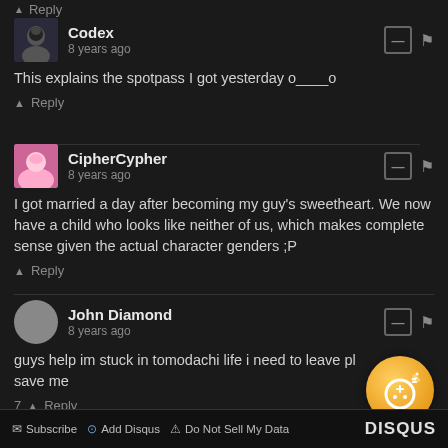↑ Reply
Codex
8 years ago
This explains the spotpass I got yesterday o____o
↑ Reply
CipherCypher
8 years ago
I got married a day after becoming my guy's sweetheart. We now have a child who looks like neither of us, which makes complete sense given the actual character genders ;P
↑ Reply
John Diamond
8 years ago
guys help im stuck in tomodachi life i need to leave pl save me
7 ↑ Reply
Subscribe  Add Disqus  Do Not Sell My Data  DISQUS